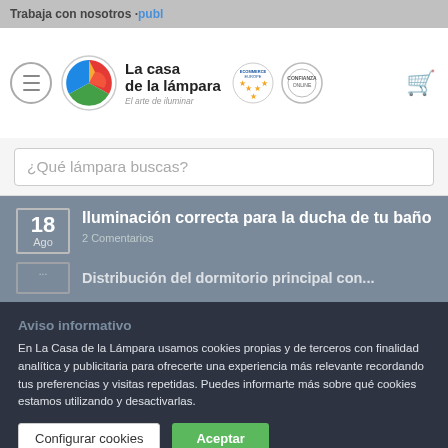Trabaja con nosotros · publ
[Figure (logo): La casa de la lámpara logo with colorful triangle icon and text 'El arte de iluminar', alongside ecommerce europe and confianza online badges]
¿Qué lámpara buscas?
Iluminación correcta para la ducha de tu baño
2 Comentarios
Distribución del dormitorio principal con...
Aviso informativo
En La Casa de la Lámpara usamos cookies propias y de terceros con finalidad analítica y publicitaria para ofrecerte una experiencia más relevante recordando tus preferencias y visitas repetidas. Puedes informarte más sobre qué cookies estamos utilizando y desactivarlas.
Configurar cookies
Aceptar